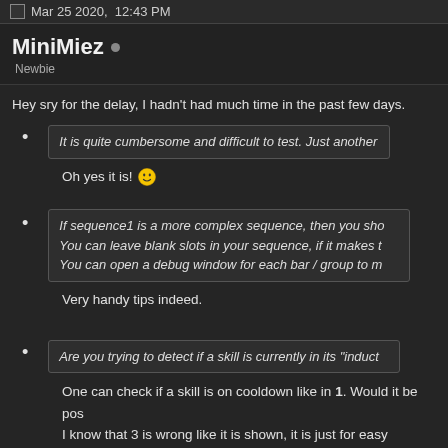Mar 25 2020,  12:43 PM
MiniMiez • Newbie
Hey sry for the delay, I hadn't had much time in the past few days.
It is quite cumbersome and difficult to test. Just another
Oh yes it is! 😄
If sequence1 is a more complex sequence, then you sho
You can leave blank slots in your sequence, if it makes t
You can open a debug window for each bar / group to m
Very handy tips indeed.
Are you trying to detect if a skill is currently in its "induct
One can check if a skill is on cooldown like in 1. Would it be pos
I know that 3 is wrong like it is shown, it is just for easy compari
1. > |Eready.ShakeYourBooty(ShakeYourBoot/  |Eready.Mi